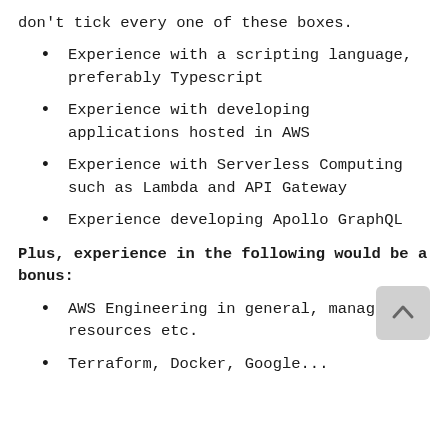don't tick every one of these boxes.
Experience with a scripting language, preferably Typescript
Experience with developing applications hosted in AWS
Experience with Serverless Computing such as Lambda and API Gateway
Experience developing Apollo GraphQL
Plus, experience in the following would be a bonus:
AWS Engineering in general, managing resources etc.
Terraform, Docker, Google...